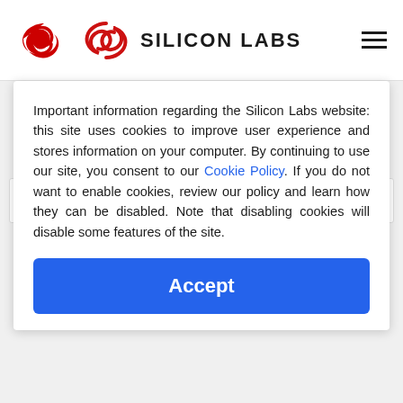[Figure (logo): Silicon Labs logo with red stylized S icon and SILICON LABS text]
EFR32MG13 Common Specs
Zigbee and Thread Radio
Important information regarding the Silicon Labs website: this site uses cookies to improve user experience and stores information on your computer. By continuing to use our site, you consent to our Cookie Policy. If you do not want to enable cookies, review our policy and learn how they can be disabled. Note that disabling cookies will disable some features of the site.
Accept